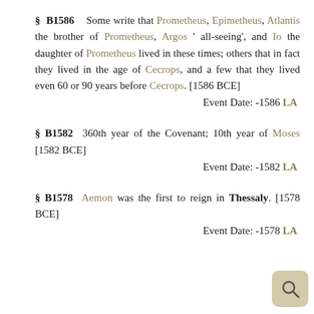§ B1586   Some write that Prometheus, Epimetheus, Atlantis the brother of Prometheus, Argos ' all-seeing', and Io the daughter of Prometheus lived in these times; others that in fact they lived in the age of Cecrops, and a few that they lived even 60 or 90 years before Cecrops. [1586 BCE]
Event Date: -1586 LA
§ B1582  360th year of the Covenant; 10th year of Moses [1582 BCE]
Event Date: -1582 LA
§ B1578  Aemon was the first to reign in Thessaly. [1578 BCE]
Event Date: -1578 LA